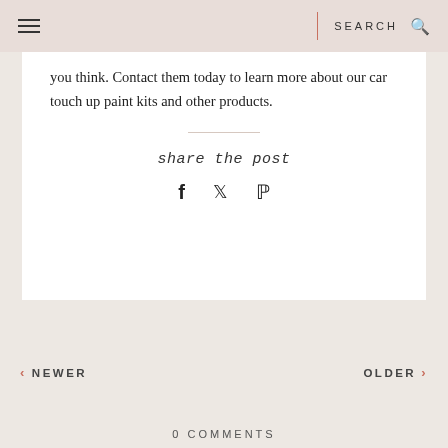SEARCH
you think. Contact them today to learn more about our car touch up paint kits and other products.
share the post
‹ NEWER    OLDER ›
0 COMMENTS